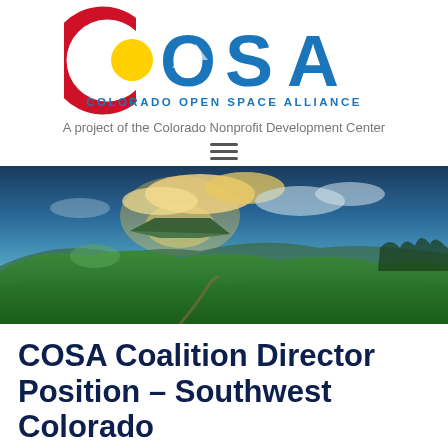[Figure (logo): COSA - Colorado Open Space Alliance logo with Colorado flag colors (red C, yellow circle, blue letters OSA) and mountain/ski imagery integrated]
A project of the Colorado Nonprofit Development Center
[Figure (other): Hamburger menu icon (three horizontal lines)]
[Figure (photo): Panoramic landscape photo of Colorado open space: green rolling hills with mesas, dramatic sky with clouds and golden light at sunset/sunrise]
COSA Coalition Director Position – Southwest Colorado
JANUARY 18, 2022